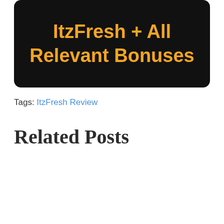[Figure (other): Dark rounded rectangle banner with orange bold text reading 'ItzFresh + All Relevant Bonuses']
Tags: ItzFresh Review
Related Posts